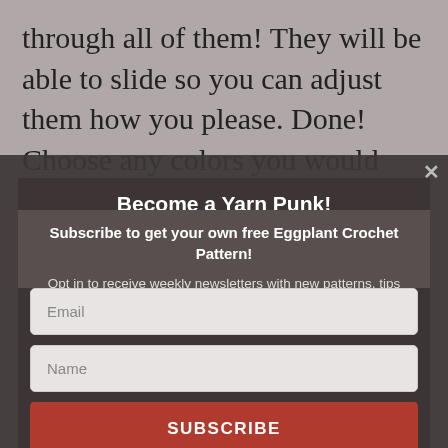through all of them! They will be able to slide so you can adjust them how you please. Done! Choose any colors you would like to have shining bright on her antlers 🙂
Become a Yarn Punk!
Subscribe to get your own free Eggplant Crochet Pattern!
Opt in to receive weekly newsletters with new patterns, tips and tricks, promotions, and all things Yarn Punk!
Email
Name
SUBSCRIBE